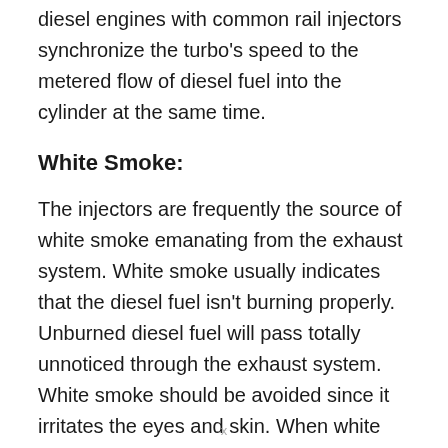diesel engines with common rail injectors synchronize the turbo's speed to the metered flow of diesel fuel into the cylinder at the same time.
White Smoke:
The injectors are frequently the source of white smoke emanating from the exhaust system. White smoke usually indicates that the diesel fuel isn't burning properly. Unburned diesel fuel will pass totally unnoticed through the exhaust system. White smoke should be avoided since it irritates the eyes and skin. When white smoke appears during a cold start and then disappears, it's likely due to frozen deposits of soot that grew around the rings and then
x